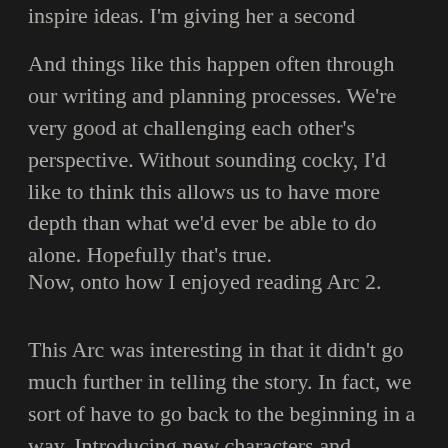inspire ideas. I'm giving her a second perspective.
And things like this happen often through our writing and planning processes. We're very good at challenging each other's perspective. Without sounding cocky, I'd like to think this allows us to have more depth than what we'd ever be able to do alone. Hopefully that's true.
Now, onto how I enjoyed reading Arc 2.
This Arc was interesting in that it didn't go much further in telling the story. In fact, we sort of have to go back to the beginning in a way. Introducing new characters and building up on their perspectives and ideals and whatnot. I talk about this more in the 10 year anniversary special of the Plotsteins Perspective, which is available for